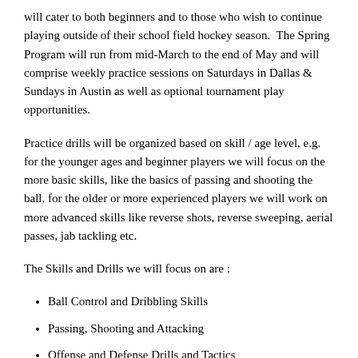will cater to both beginners and to those who wish to continue playing outside of their school field hockey season.  The Spring Program will run from mid-March to the end of May and will comprise weekly practice sessions on Saturdays in Dallas & Sundays in Austin as well as optional tournament play opportunities.
Practice drills will be organized based on skill / age level, e.g. for the younger ages and beginner players we will focus on the more basic skills, like the basics of passing and shooting the ball, for the older or more experienced players we will work on more advanced skills like reverse shots, reverse sweeping, aerial passes, jab tackling etc.
The Skills and Drills we will focus on are :
Ball Control and Dribbling Skills
Passing, Shooting and Attacking
Offense and Defense Drills and Tactics
Peripheral Vision and working in triangles